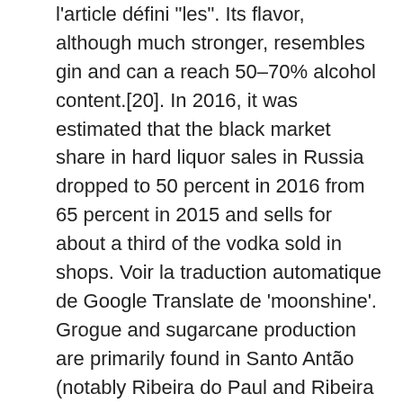l'article défini "les". Its flavor, although much stronger, resembles gin and can a reach 50–70% alcohol content.[20]. In 2016, it was estimated that the black market share in hard liquor sales in Russia dropped to 50 percent in 2016 from 65 percent in 2015 and sells for about a third of the vodka sold in shops. Voir la traduction automatique de Google Translate de 'moonshine'. Grogue and sugarcane production are primarily found in Santo Antão (notably Ribeira do Paul and Ribeira da Cruz) and Santiago. Hokonui Moonshine is now produced legally and commercially by the Southern Distilling Company which has recently started to export it. [citation needed] American soldiers, in the American military bases, and South Korean workers in Saudi Arabia create improvised moonshines from water, fruits (lemons and oranges), and yeast.[22]. The tradition of producing moonshine might be traced back to the Middle Ages when tavern owners manufactured vodka for local sale